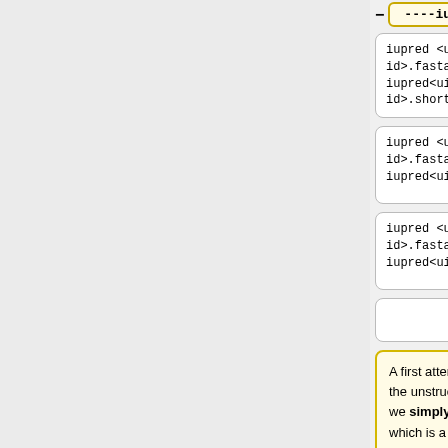— ----iupred---- — ----IUPred----
iupred <uniprot-id>.fasta short > iupred<uinprot-id>.short
iupred <uniprot-id>.fasta short > iupred<uinprot-id>.short
iupred <uniprot-id>.fasta long  > iupred<uinprot-id>.long
iupred <uniprot-id>.fasta long  > iupred<uinprot-id>.long
iupred <uniprot-id>.fasta glob  > iupred<uinprot-id>.glob
iupred <uniprot-id>.fasta glob  > iupred<uinprot-id>.glob
A first attempt to predict the unstructured reagions we simply used iupred, which is a simple, yet not well documented tool. In
A first attempt to predict the unstructured regions we first used IUPred, which is a simple, yet not well documented tool. In order to get